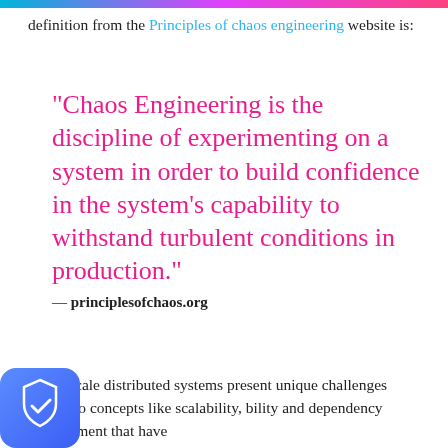definition from the Principles of chaos engineering website is:
“Chaos Engineering is the discipline of experimenting on a system in order to build confidence in the system’s capability to withstand turbulent conditions in production.”
— principlesofchaos.org
Large-scale distributed systems present unique challenges related to concepts like scalability, bility and dependency management that have